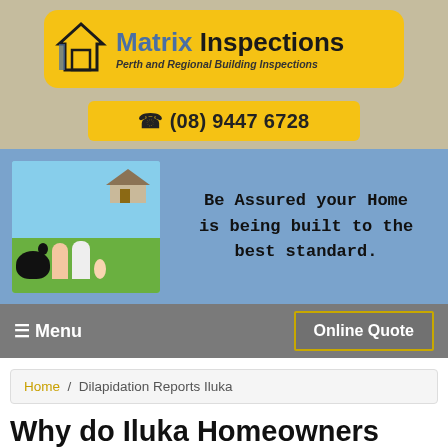[Figure (logo): Matrix Inspections logo: house outline icon on yellow rounded rectangle background, with text 'Matrix Inspections' and subtitle 'Perth and Regional Building inspections']
☎ (08) 9447 6728
[Figure (photo): Hero banner with blue background. Left side: photo of a family (woman, man, baby, and large black dog) lying on grass in front of a house. Right side: handwritten-style text 'Be Assured your Home is being built to the best standard.']
☰ Menu    Online Quote
Home / Dilapidation Reports Iluka
Why do Iluka Homeowners